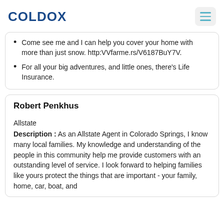COLDOX
Come see me and I can help you cover your home with more than just snow. http://farme.rs/V6187BuY7V.
For all your big adventures, and little ones, there's Life Insurance.
Robert Penkhus
Allstate
Description : As an Allstate Agent in Colorado Springs, I know many local families. My knowledge and understanding of the people in this community help me provide customers with an outstanding level of service. I look forward to helping families like yours protect the things that are important - your family, home, car, boat, and